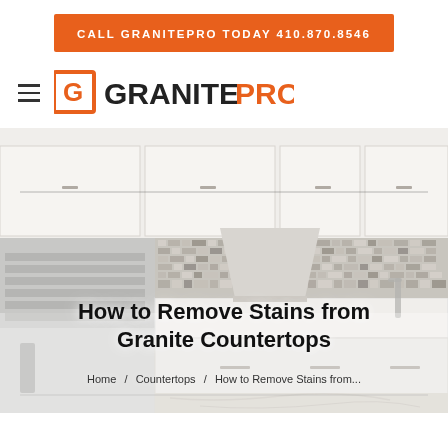CALL GRANITEPRO TODAY 410.870.8546
[Figure (logo): GranitePro logo with orange G icon and GRANITEPRO wordmark]
[Figure (photo): Modern white kitchen with stainless steel refrigerator, white cabinets, mosaic tile backsplash, and granite countertops]
How to Remove Stains from Granite Countertops
Home / Countertops / How to Remove Stains from...